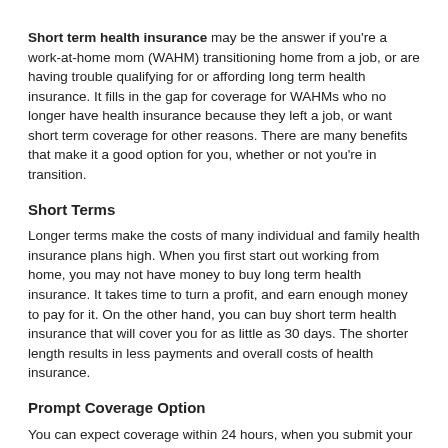Short term health insurance may be the answer if you're a work-at-home mom (WAHM) transitioning home from a job, or are having trouble qualifying for or affording long term health insurance. It fills in the gap for coverage for WAHMs who no longer have health insurance because they left a job, or want short term coverage for other reasons. There are many benefits that make it a good option for you, whether or not you're in transition.
Short Terms
Longer terms make the costs of many individual and family health insurance plans high. When you first start out working from home, you may not have money to buy long term health insurance. It takes time to turn a profit, and earn enough money to pay for it. On the other hand, you can buy short term health insurance that will cover you for as little as 30 days. The shorter length results in less payments and overall costs of health insurance.
Prompt Coverage Option
You can expect coverage within 24 hours, when you submit your application for short term health insurance. If don't want any gaps in coverage, then prompt coverage is a huge benefit. It takes longer to get approval for Long term health insurance. Some WAHMs buy short term health insurance for 30 days while waiting for their long term health insurance application to get approved.
Delayed Coverage Option
There are reasons why you may want to delay your coverage start